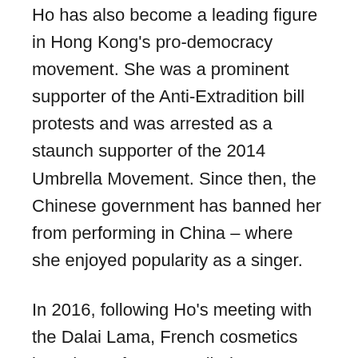Ho has also become a leading figure in Hong Kong's pro-democracy movement. She was a prominent supporter of the Anti-Extradition bill protests and was arrested as a staunch supporter of the 2014 Umbrella Movement. Since then, the Chinese government has banned her from performing in China – where she enjoyed popularity as a singer.
In 2016, following Ho's meeting with the Dalai Lama, French cosmetics brand Lancôme cancelled a promotional concert featuring her. In response, Ho started crowdfunding her concerts to avoid corporate censorship.
Despite facing pressure from the Chinese government, Ho continues to speak out for